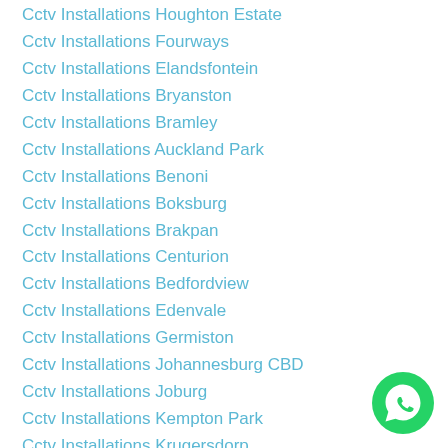Cctv Installations Houghton Estate
Cctv Installations Fourways
Cctv Installations Elandsfontein
Cctv Installations Bryanston
Cctv Installations Bramley
Cctv Installations Auckland Park
Cctv Installations Benoni
Cctv Installations Boksburg
Cctv Installations Brakpan
Cctv Installations Centurion
Cctv Installations Bedfordview
Cctv Installations Edenvale
Cctv Installations Germiston
Cctv Installations Johannesburg CBD
Cctv Installations Joburg
Cctv Installations Kempton Park
Cctv Installations Krugersdorp
Cctv Installations Midrand
Cctv Installations Pretoria
[Figure (logo): WhatsApp green circular button icon]